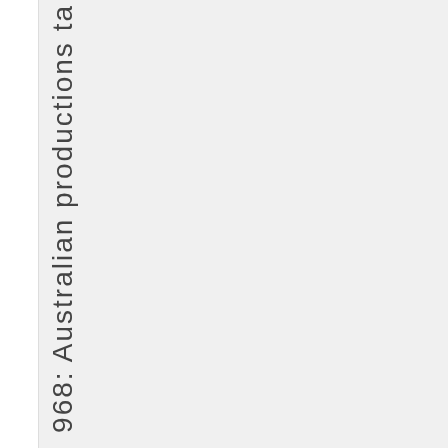968: Australian productions ta